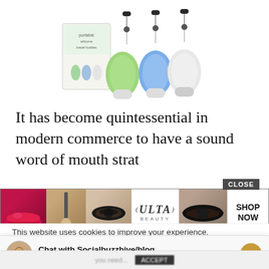[Figure (photo): Product photo of portable silicone travel bottles with retractable badge-reel clips in green, blue, and white, shown next to product box packaging on white background]
It has become quintessential in modern commerce to have a sound word of mouth strat...
[Figure (screenshot): Advertisement banner for ULTA Beauty showing collage of beauty/makeup close-up photos (lips, brush, eyes, ULTA logo, smoky eyes) with CLOSE button and SHOP NOW call to action]
This website uses cookies to improve your experience.
Chat with Socialbuzzhive/blog
Hi! How can we help you?